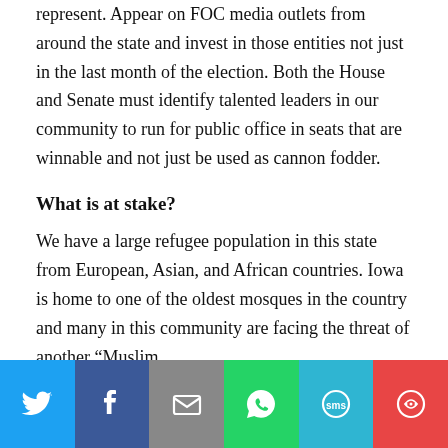represent. Appear on FOC media outlets from around the state and invest in those entities not just in the last month of the election. Both the House and Senate must identify talented leaders in our community to run for public office in seats that are winnable and not just be used as cannon fodder.
What is at stake?
We have a large refugee population in this state from European, Asian, and African countries. Iowa is home to one of the oldest mosques in the country and many in this community are facing the threat of another “Muslim
[Figure (infographic): Social media share bar with six buttons: Twitter (blue), Facebook (dark blue), Email (gray), WhatsApp (green), SMS (light blue), More (red)]